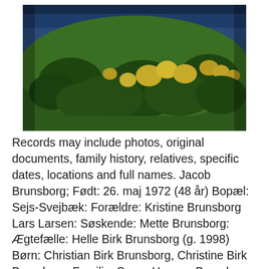[Figure (photo): Aerial photograph of a forested hill or island covered densely with green coniferous and some yellow/orange deciduous trees, with dark blue water visible at the top edge of the image.]
Records may include photos, original documents, family history, relatives, specific dates, locations and full names. Jacob Brunsborg; Født: 26. maj 1972 (48 år) Bopæl: Sejs-Svejbæk: Forældre: Kristine Brunsborg Lars Larsen: Søskende: Mette Brunsborg: Ægtefælle: Helle Birk Brunsborg (g. 1998) Børn: Christian Birk Brunsborg, Christine Birk Brunsborg: Familie: Søren Hansen Brunsborg , Line Hansen Brunsborg (niece) Uddannelse og virke: